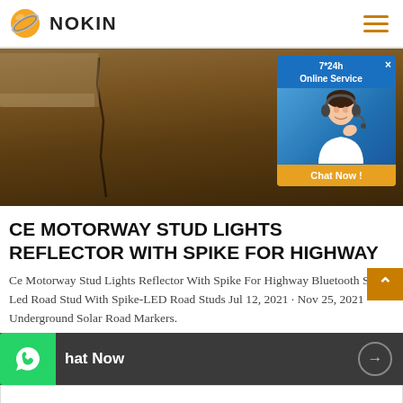[Figure (logo): NOKIN company logo with orange circle and Saturn-like rings]
[Figure (photo): Road surface with crack, dark brown/tan color highway pavement photo, with 7*24h Online Service chat popup overlay in top right]
CE MOTORWAY STUD LIGHTS REFLECTOR WITH SPIKE FOR HIGHWAY
Ce Motorway Stud Lights Reflector With Spike For Highway Bluetooth Solar Led Road Stud With Spike-LED Road Studs Jul 12, 2021 · Nov 25, 2021 · Underground Solar Road Markers.
[Figure (screenshot): Chat Now bar with WhatsApp green icon on left and arrow circle on right, on dark gray background]